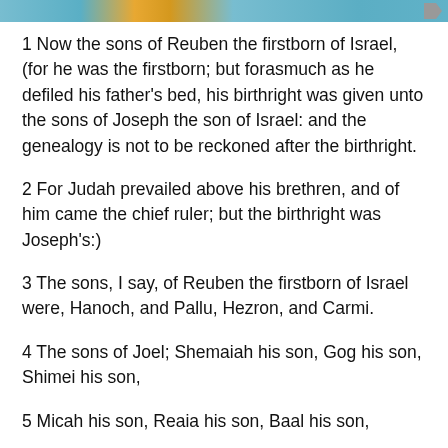1 Now the sons of Reuben the firstborn of Israel, (for he was the firstborn; but forasmuch as he defiled his father's bed, his birthright was given unto the sons of Joseph the son of Israel: and the genealogy is not to be reckoned after the birthright.
2 For Judah prevailed above his brethren, and of him came the chief ruler; but the birthright was Joseph's:)
3 The sons, I say, of Reuben the firstborn of Israel were, Hanoch, and Pallu, Hezron, and Carmi.
4 The sons of Joel; Shemaiah his son, Gog his son, Shimei his son,
5 Micah his son, Reaia his son, Baal his son,
6 Beerah his son, whom Tilgathpilneser king of Assyria